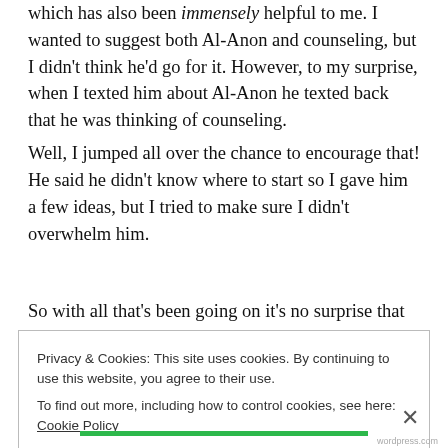which has also been immensely helpful to me. I wanted to suggest both Al-Anon and counseling, but I didn't think he'd go for it. However, to my surprise, when I texted him about Al-Anon he texted back that he was thinking of counseling.
Well, I jumped all over the chance to encourage that! He said he didn't know where to start so I gave him a few ideas, but I tried to make sure I didn't overwhelm him.
So with all that's been going on it's no surprise that
Privacy & Cookies: This site uses cookies. By continuing to use this website, you agree to their use.
To find out more, including how to control cookies, see here: Cookie Policy